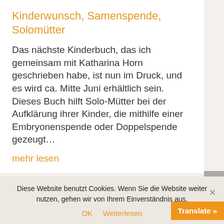Kinderwunsch, Samenspende, Solomütter
Das nächste Kinderbuch, das ich gemeinsam mit Katharina Horn geschrieben habe, ist nun im Druck, und es wird ca. Mitte Juni erhältlich sein. Dieses Buch hilft Solo-Mütter bei der Aufklärung ihrer Kinder, die mithilfe einer Embryonenspende oder Doppelspende gezeugt…
mehr lesen
Diese Website benutzt Cookies. Wenn Sie die Website weiter nutzen, gehen wir von Ihrem Einverständnis aus.
OK  Weiterlesen
Translate »